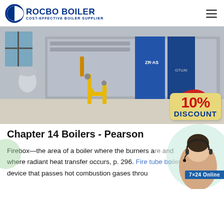ROCBO BOILER — COST-EFFECTIVE BOILER SUPPLIER
[Figure (photo): Industrial boiler installation with blue rectangular boiler unit, yellow gas pipes, and red burner component. A 10% DISCOUNT badge is overlaid on the lower right of the image.]
Chapter 14 Boilers - Pearson
Firebox—the area of a boiler where the burners are and where radiant heat transfer occurs, p. 296. Fire tube boiler—a device that passes hot combustion gases throu…